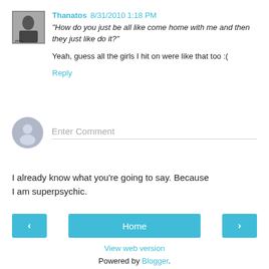Thanatos 8/31/2010 1:18 PM — "How do you just be all like come home with me and then they just like do it?" Yeah, guess all the girls I hit on were like that too :( Reply
[Figure (other): User avatar thumbnail - black and white photo of a person]
Enter Comment
[Figure (other): Generic user avatar circle icon]
I already know what you're going to say. Because I am superpsychic.
< Home > View web version Powered by Blogger.